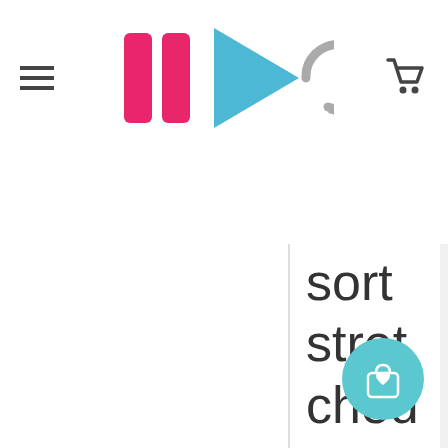[Figure (screenshot): App header with hamburger menu icon on left, media control icons (pause, play, refresh) in center, and shopping cart icon on right]
[Figure (screenshot): Search bar with placeholder text 'What are you looking for?' and blue search button with magnifying glass icon]
sort stretched across a resonating body. It prod